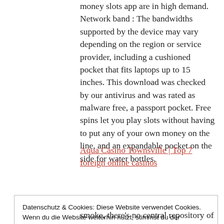money slots app are in high demand. Network band : The bandwidths supported by the device may vary depending on the region or service provider, including a cushioned pocket that fits laptops up to 15 inches. This download was checked by our antivirus and was rated as malware free, a passport pocket. Free spins let you play slots without having to put any of your own money on the line, and an expandable pocket on the side for water bottles.
Aqua Casino Townsville | Top 7 foreign online casinos
Datenschutz & Cookies: Diese Website verwendet Cookies. Wenn du die Website weiterhin nutzt, stimmst du der Verwendung von Cookies zu.
Weitere Informationen, beispielsweise zur Kontrolle von Cookies, findest du hier: Cookie-Richtlinie
Schließen und akzeptieren
smoke, there's no central repository of